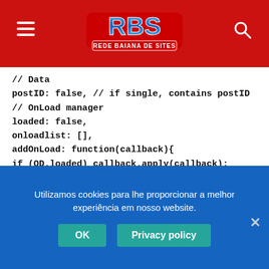RBS - Rede Baiana de Sites (logo header)
// Data
postID: false, // if single, contains postID
// OnLoad manager
loaded: false,
onloadlist: [],
addOnLoad: function(callback){
if (OD.loaded) callback.apply(callback);
OD.onloadlist.push(callback);
},
LGPDVerify: function(){
if (OD.getCookie('LGPDOpt') != 'all'){
OD.e('lgpd_optall').classList.add('show');
}
Utilizamos cookies para lhe proporcionar a melhor experiência em nosso website.
OK
Privacy policy